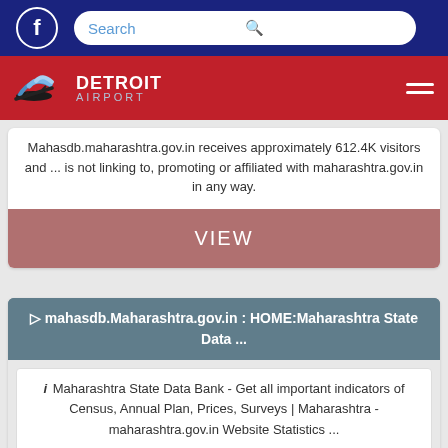Detroit Airport website header with Facebook icon and Search bar
[Figure (logo): Detroit Airport logo on red bar with hamburger menu]
Mahasdb.maharashtra.gov.in receives approximately 612.4K visitors and ... is not linking to, promoting or affiliated with maharashtra.gov.in in any way.
VIEW
▷ mahasdb.Maharashtra.gov.in : HOME:Maharashtra State Data ...
i Maharashtra State Data Bank - Get all important indicators of Census, Annual Plan, Prices, Surveys | Maharashtra - maharashtra.gov.in Website Statistics ...
VIEW